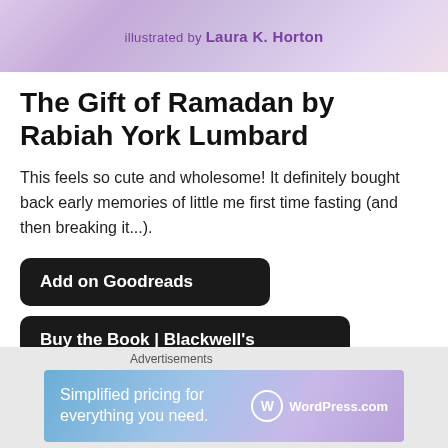[Figure (illustration): Book cover banner image with purple/lavender illustrated background showing lanterns and decorative elements. Text reads 'illustrated by Laura K. Horton' in purple serif/sans font.]
The Gift of Ramadan by Rabiah York Lumbard
This feels so cute and wholesome! It definitely bought back early memories of little me first time fasting (and then breaking it...).
Add on Goodreads
Buy the Book | Blackwell's
Advertisements
[Figure (infographic): WordPress.com advertisement banner with blue/purple gradient. Text reads 'Simplified pricing for everything you need.' with WordPress.com logo on right.]